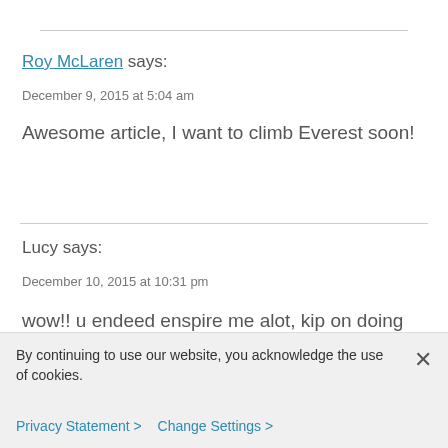Roy McLaren says:
December 9, 2015 at 5:04 am
Awesome article, I want to climb Everest soon!
Lucy says:
December 10, 2015 at 10:31 pm
wow!! u endeed enspire me alot, kip on doing this to us Brian.
By continuing to use our website, you acknowledge the use of cookies.
Privacy Statement > Change Settings >